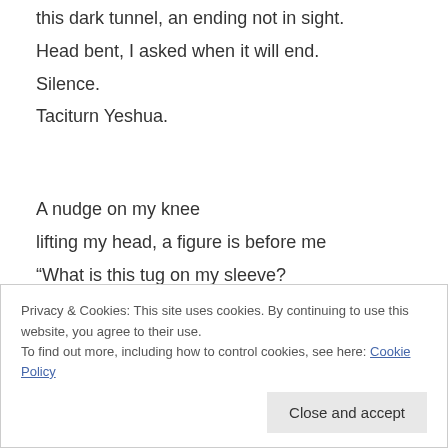this dark tunnel, an ending not in sight.
Head bent, I asked when it will end.
Silence.
Taciturn Yeshua.
A nudge on my knee
lifting my head, a figure is before me
“What is this tug on my sleeve?
Privacy & Cookies: This site uses cookies. By continuing to use this website, you agree to their use. To find out more, including how to control cookies, see here: Cookie Policy
She leads me to my bed, now, not so short